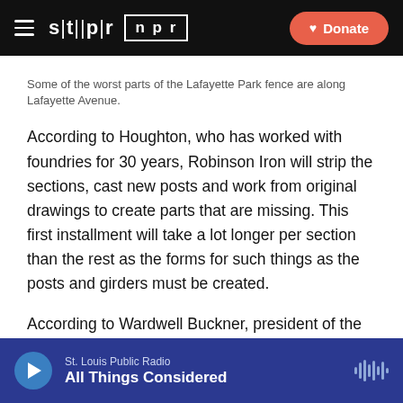stlpr | npr  Donate
Some of the worst parts of the Lafayette Park fence are along Lafayette Avenue.
According to Houghton, who has worked with foundries for 30 years, Robinson Iron will strip the sections, cast new posts and work from original drawings to create parts that are missing. This first installment will take a lot longer per section than the rest as the forms for such things as the posts and girders must be created.
According to Wardwell Buckner, president of the Lafayette Park Conservancy, this part of the project will cost approximately $63,000. The price tag for entire fence will be well above $1 million. In addition to the
St. Louis Public Radio  All Things Considered